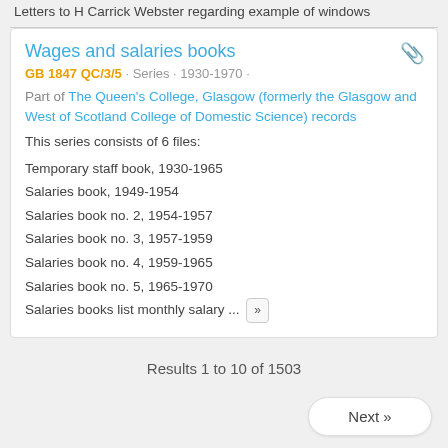Letters to H Carrick Webster regarding example of windows
Wages and salaries books
GB 1847 QC/3/5 · Series · 1930-1970 ·
Part of The Queen's College, Glasgow (formerly the Glasgow and West of Scotland College of Domestic Science) records
This series consists of 6 files:
Temporary staff book, 1930-1965
Salaries book, 1949-1954
Salaries book no. 2, 1954-1957
Salaries book no. 3, 1957-1959
Salaries book no. 4, 1959-1965
Salaries book no. 5, 1965-1970
Salaries books list monthly salary ... »
Results 1 to 10 of 1503
Next »